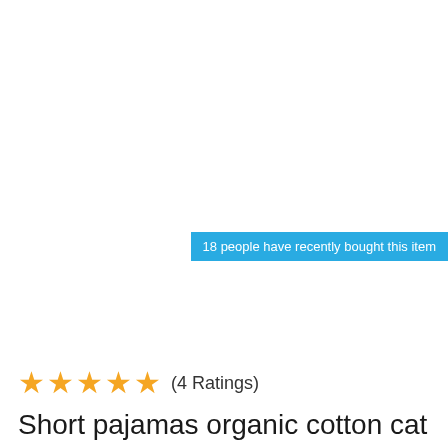18 people have recently bought this item
★★★★★ (4 Ratings)
Short pajamas organic cotton cat cherries